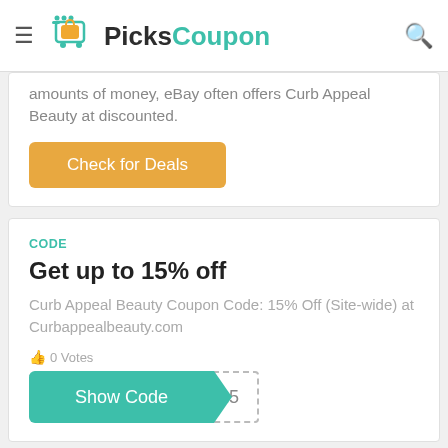PicksCoupon
amounts of money, eBay often offers Curb Appeal Beauty at discounted.
Check for Deals
CODE
Get up to 15% off
Curb Appeal Beauty Coupon Code: 15% Off (Site-wide) at Curbappealbeauty.com
0 Votes
22 Views
May 25, 2022
Show Code  L15